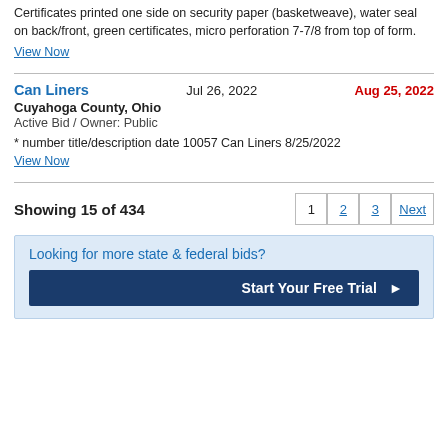Certificates printed one side on security paper (basketweave), water seal on back/front, green certificates, micro perforation 7-7/8 from top of form.
View Now
Can Liners   Jul 26, 2022   Aug 25, 2022
Cuyahoga County, Ohio
Active Bid / Owner: Public
* number title/description date 10057 Can Liners 8/25/2022
View Now
Showing 15 of 434
Looking for more state & federal bids?
Start Your Free Trial ▶